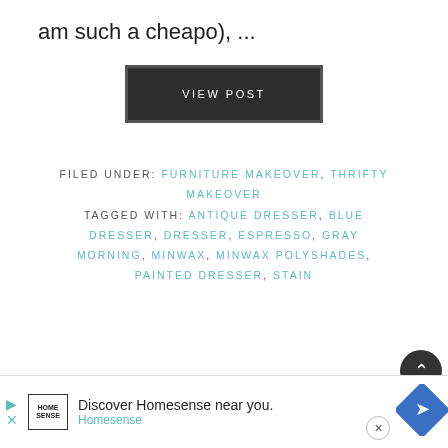am such a cheapo), ...
VIEW POST
FILED UNDER: FURNITURE MAKEOVER, THRIFTY MAKEOVER
TAGGED WITH: ANTIQUE DRESSER, BLUE DRESSER, DRESSER, ESPRESSO, GRAY MORNING, MINWAX, MINWAX POLYSHADES, PAINTED DRESSER, STAIN
Discover Homesense near you. Homesense